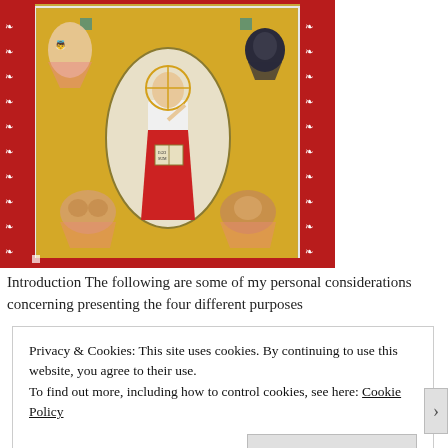[Figure (illustration): Medieval illuminated manuscript style illustration of Christ in Majesty (Majestas Domini), seated in a mandorla with a red robe, right hand raised in blessing, holding an open book. Four evangelist symbols in corners: angel (Matthew), eagle (John), ox (Luke), lion (Mark). Red decorative border with ornate patterns. Gold and teal decorative background.]
Introduction The following are some of my personal considerations concerning presenting the four different purposes
Privacy & Cookies: This site uses cookies. By continuing to use this website, you agree to their use.
To find out more, including how to control cookies, see here: Cookie Policy
Close and accept